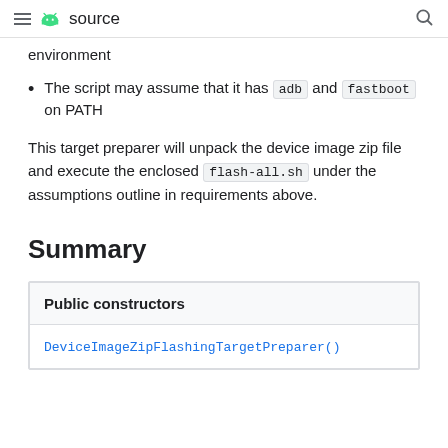source
The script may assume that it has adb and fastboot on PATH
This target preparer will unpack the device image zip file and execute the enclosed flash-all.sh under the assumptions outline in requirements above.
Summary
| Public constructors |
| --- |
| DeviceImageZipFlashingTargetPreparer() |